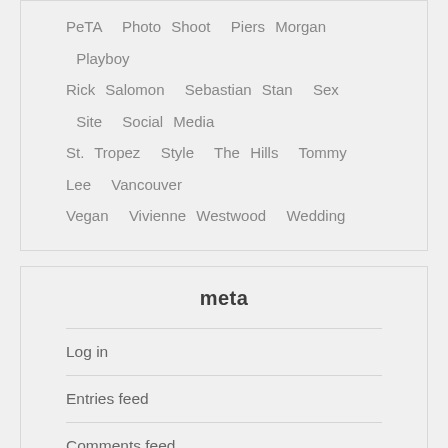PeTA  Photo Shoot  Piers Morgan  Playboy  Rick Salomon  Sebastian Stan  Sex  Site  Social Media  St. Tropez  Style  The Hills  Tommy Lee  Vancouver  Vegan  Vivienne Westwood  Wedding
meta
Log in
Entries feed
Comments feed
WordPress.org